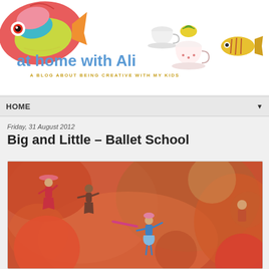[Figure (illustration): Blog header banner with colorful illustrated fish on the left, teacups and small fish on the right, blog title 'at home with Ali' in blue, subtitle 'A BLOG ABOUT BEING CREATIVE WITH MY KIDS' in gold/yellow]
HOME ▼
Friday, 31 August 2012
Big and Little – Ballet School
[Figure (photo): Photo of small ballet figurines/toys arranged in a scene with colorful blurred background, figurines wearing red and blue ballet outfits]